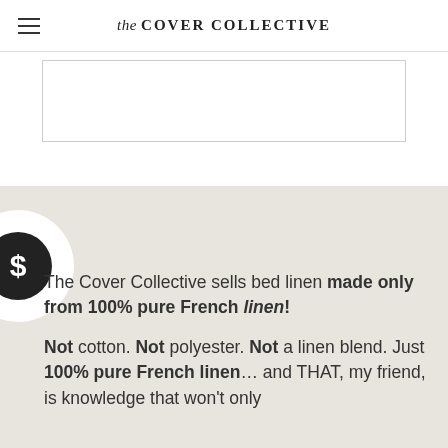the COVER COLLECTIVE
[Figure (photo): Rectangular image placeholder with border, showing partial product image (white/empty area)]
[Figure (illustration): Dollar sign icon: black circle with white dollar sign inside, surrounded by white circular background]
The Cover Collective sells bed linen made only from 100% pure French linen!
Not cotton. Not polyester. Not a linen blend. Just 100% pure French linen… and THAT, my friend, is knowledge that won't only